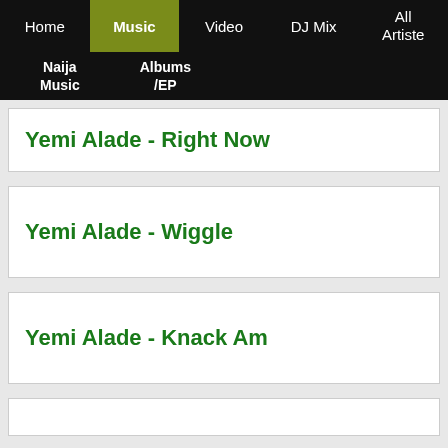Home | Music | Video | DJ Mix | All Artiste | Naija Music | Albums /EP
Yemi Alade - Right Now
Yemi Alade - Wiggle
Yemi Alade - Knack Am